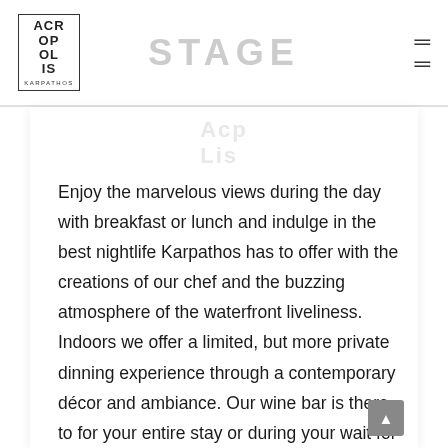[Figure (logo): Acropolis Karpathos logo in a bordered box with stylized text ACR OP OL IS and KARPATHOS below]
STAGE
Enjoy the marvelous views during the day with breakfast or lunch and indulge in the best nightlife Karpathos has to offer with the creations of our chef and the buzzing atmosphere of the waterfront liveliness. Indoors we offer a limited, but more private dinning experience through a contemporary décor and ambiance. Our wine bar is there to for your entire stay or during your wait for a table.